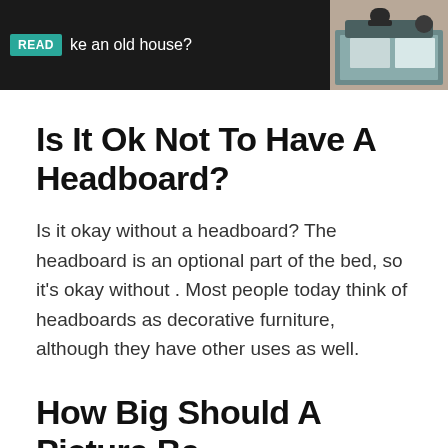[Figure (screenshot): Website banner with dark background showing 'READ' badge in teal and text 'ke an old house?' with a bedroom image on the right]
Is It Ok Not To Have A Headboard?
Is it okay without a headboard? The headboard is an optional part of the bed, so it's okay without . Most people today think of headboards as decorative furniture, although they have other uses as well.
How Big Should A Picture Be